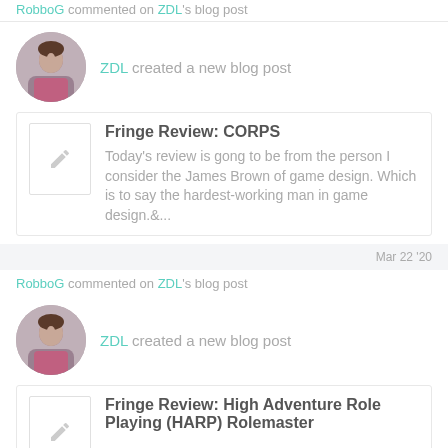RobboG commented on ZDL's blog post
ZDL created a new blog post
Fringe Review: CORPS
Today's review is gong to be from the person I consider the James Brown of game design.  Which is to say the hardest-working man in game design.&...
Mar 22 '20
RobboG commented on ZDL's blog post
ZDL created a new blog post
Fringe Review: High Adventure Role Playing (HARP) Rolemaster